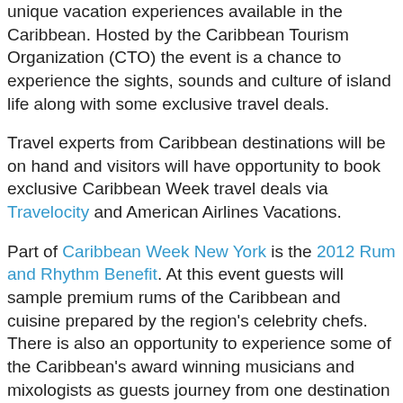unique vacation experiences available in the Caribbean. Hosted by the Caribbean Tourism Organization (CTO) the event is a chance to experience the sights, sounds and culture of island life along with some exclusive travel deals.
Travel experts from Caribbean destinations will be on hand and visitors will have opportunity to book exclusive Caribbean Week travel deals via Travelocity and American Airlines Vacations.
Part of Caribbean Week New York is the 2012 Rum and Rhythm Benefit. At this event guests will sample premium rums of the Caribbean and cuisine prepared by the region's celebrity chefs. There is also an opportunity to experience some of the Caribbean's award winning musicians and mixologists as guests journey from one destination to the other. A live auction will give visitors the opportunity to outbid each other for exclusive vacation packages.
At another event, one lucky couple will tie the knot at a